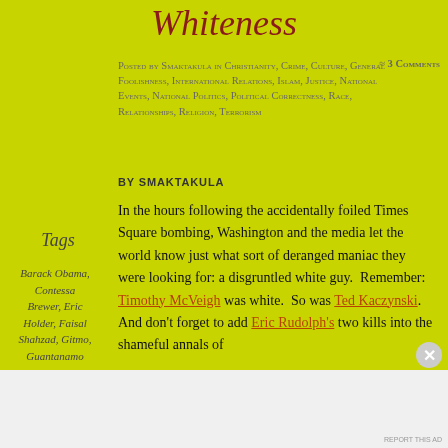Whiteness
Posted by Smaktakula in Christianity, Crime, Culture, General Foolishness, International Relations, Islam, Justice, National Events, National Politics, Political Correctness, Race, Relationships, Religion, Terrorism
≈ 3 Comments
BY SMAKTAKULA
Tags
Barack Obama, Contessa Brewer, Eric Holder, Faisal Shahzad, Gitmo, Guantanamo
In the hours following the accidentally foiled Times Square bombing, Washington and the media let the world know just what sort of deranged maniac they were looking for: a disgruntled white guy.  Remember: Timothy McVeigh was white.  So was Ted Kaczynski.  And don't forget to add Eric Rudolph's two kills into the shameful annals of
Advertisements
[Figure (screenshot): DAY ONE app advertisement banner with icons and tagline 'The only journaling app you'll ever need.']